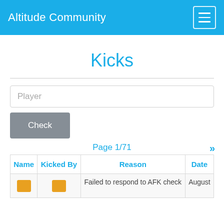Altitude Community
Kicks
Player
Check
Page 1/71
| Name | Kicked By | Reason | Date |
| --- | --- | --- | --- |
|  |  | Failed to respond to AFK check | August |